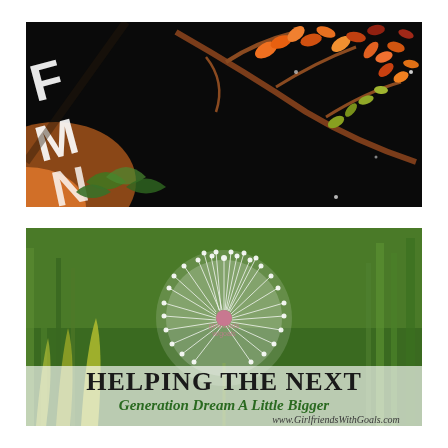[Figure (photo): Close-up photo of a book cover with autumn/fall orange and red leaves on branches against a black background, with partial white text visible on the left side]
[Figure (photo): Photo of a dandelion seedhead (white puffball) against a green grass background with overlaid text: 'Helping The Next Generation Dream A Little Bigger' and 'www.GirlfriendsWithGoals.com']